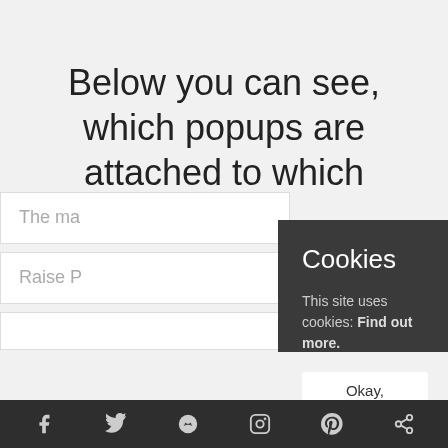Below you can see, which popups are attached to which panels.
The ma
Raise P
[Figure (screenshot): Cookie consent popup overlay on dark background with title 'Cookies', body text 'This site uses cookies: Find out more.' and an 'Okay, thanks' button]
Social share icons: Facebook, Twitter, Reddit, Instagram, Pinterest, Share